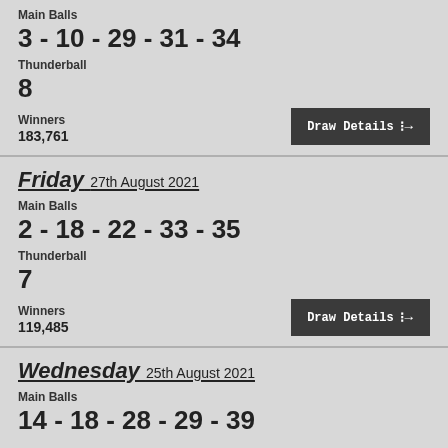Main Balls
3 - 10 - 29 - 31 - 34
Thunderball
8
Winners
183,761
Friday 27th August 2021
Main Balls
2 - 18 - 22 - 33 - 35
Thunderball
7
Winners
119,485
Wednesday 25th August 2021
Main Balls
14 - 18 - 28 - 29 - 39